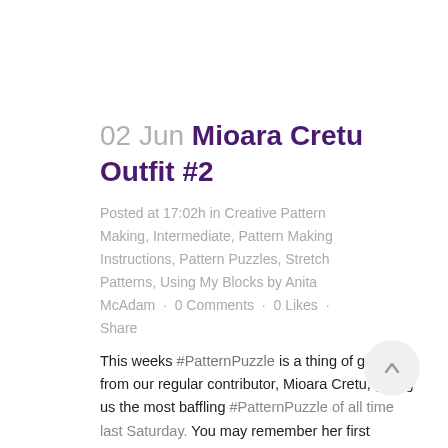02 Jun Mioara Cretu Outfit #2
Posted at 17:02h in Creative Pattern Making, Intermediate, Pattern Making Instructions, Pattern Puzzles, Stretch Patterns, Using My Blocks by Anita McAdam · 0 Comments · 0 Likes · Share
This weeks #PatternPuzzle is a thing of genius from our regular contributor, Mioara Cretu, gifting us the most baffling #PatternPuzzle of all time last Saturday. You may remember her first